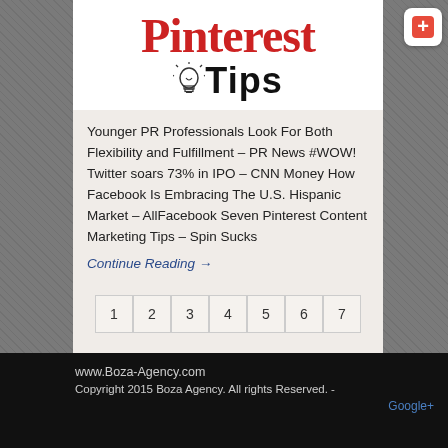[Figure (screenshot): Pinterest Tips logo image showing 'Pinterest' in red serif font and 'Tips' in black with a lightbulb icon]
Younger PR Professionals Look For Both Flexibility and Fulfillment – PR News #WOW! Twitter soars 73% in IPO – CNN Money How Facebook Is Embracing The U.S. Hispanic Market – AllFacebook Seven Pinterest Content Marketing Tips – Spin Sucks
Continue Reading →
1 2 3 4 5 6 7
www.Boza-Agency.com
Copyright 2015 Boza Agency. All rights Reserved. -
Google+